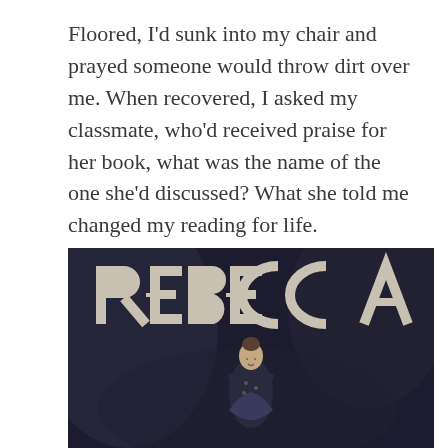Floored, I'd sunk into my chair and prayed someone would throw dirt over me. When recovered, I asked my classmate, who'd received praise for her book, what was the name of the one she'd discussed? What she told me changed my reading for life.
Rebecca. Aah, you say. That one, the one by Daphne du Maurier. Yep.
[Figure (photo): Book cover of 'Rebecca' by Daphne du Maurier. Dark background with large stylized text reading 'REBECCA' at the top, and a figure of a woman standing below.]